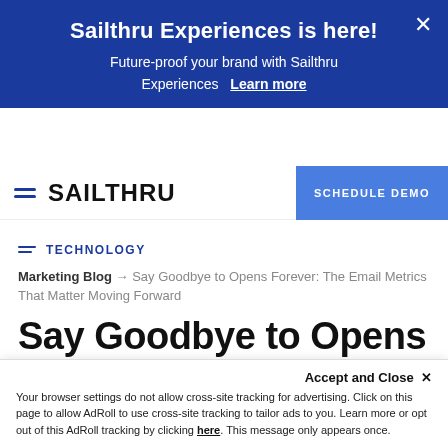Sailthru Experiences is here!
Future-proof your brand with Sailthru Experiences  Learn more
SAILTHRU  SCHEDULE DEMO
TECHNOLOGY
Marketing Blog → Say Goodbye to Opens Forever: The Email Metrics That Matter Moving Forward
Say Goodbye to Opens Forever: The Email Metrics
Accept and Close ×
Your browser settings do not allow cross-site tracking for advertising. Click on this page to allow AdRoll to use cross-site tracking to tailor ads to you. Learn more or opt out of this AdRoll tracking by clicking here. This message only appears once.